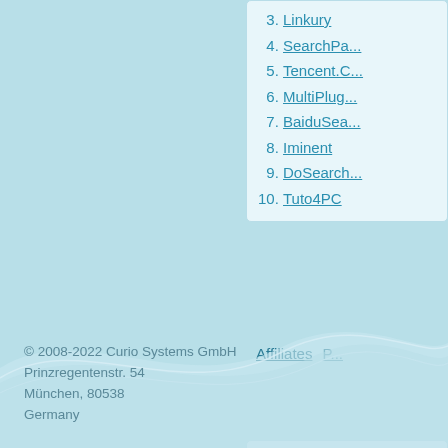3. Linkury
4. SearchPa...
5. Tencent.C...
6. MultiPlug...
7. BaiduSea...
8. Iminent
9. DoSearch...
10. Tuto4PC
SEARCHE...
gotter tool
Affiliates
© 2008-2022 Curio Systems GmbH
Prinzregentenstr. 54
München, 80538
Germany